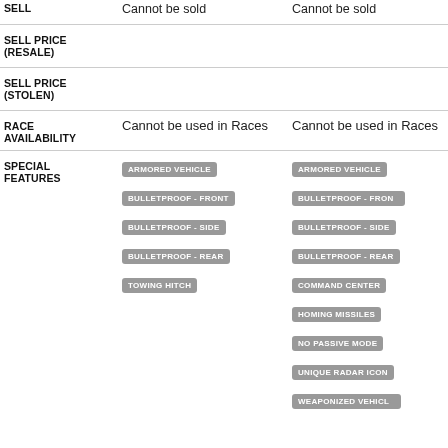|  | Column 1 | Column 2 |
| --- | --- | --- |
| SELL | Cannot be sold | Cannot be sold |
| SELL PRICE (RESALE) |  |  |
| SELL PRICE (STOLEN) |  |  |
| RACE AVAILABILITY | Cannot be used in Races | Cannot be used in Races |
| SPECIAL FEATURES | ARMORED VEHICLE, BULLETPROOF - FRONT, BULLETPROOF - SIDE, BULLETPROOF - REAR, TOWING HITCH | ARMORED VEHICLE, BULLETPROOF - FRONT, BULLETPROOF - SIDE, BULLETPROOF - REAR, COMMAND CENTER, HOMING MISSILES, NO PASSIVE MODE, UNIQUE RADAR ICON, WEAPONIZED VEHICLE |